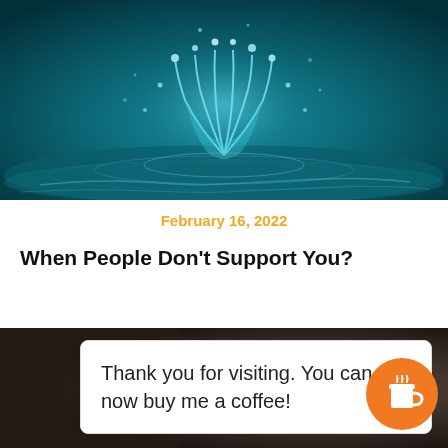[Figure (photo): Close-up photo of a water splash with blue/teal tones, water droplets suspended in air against a dark background]
February 16, 2022
When People Don't Support You?
[Figure (infographic): Dark blurred background with a white card showing 'Thank you for visiting. You can now buy me a coffee!' and an orange circular button with a coffee cup icon]
Thank you for visiting. You can now buy me a coffee!